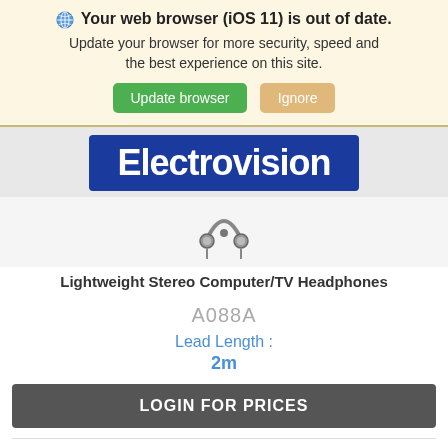🌐 Your web browser (iOS 11) is out of date. Update your browser for more security, speed and the best experience on this site. [Update browser] [Ignore]
[Figure (logo): Electrovision logo — white bold text on dark blue rectangle background]
[Figure (illustration): Lightweight stereo headphones product image, grey/black headphones viewed from front]
Lightweight Stereo Computer/TV Headphones
A088A
Lead Length :
2m
LOGIN FOR PRICES